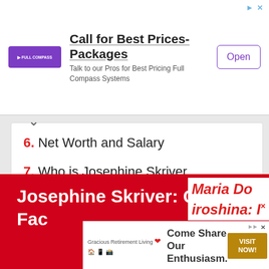[Figure (infographic): Top advertisement banner for Full Compass Systems: 'Call for Best Prices-Packages', 'Talk to our Pros for Best Pricing Full Compass Systems', with Open button]
6. Net Worth and Salary
7. Who is Josephine Skriver Boyfriend? Is she Dating or still Single?
8. Social Media
Josephine Skriver: Quick Fac...
[Figure (infographic): Bottom advertisement banner: Gracious Retirement Living - Come Share Our Enthusiasm. VISIT NOW! button]
Maria Do
iroshina: I
...gra
Mode